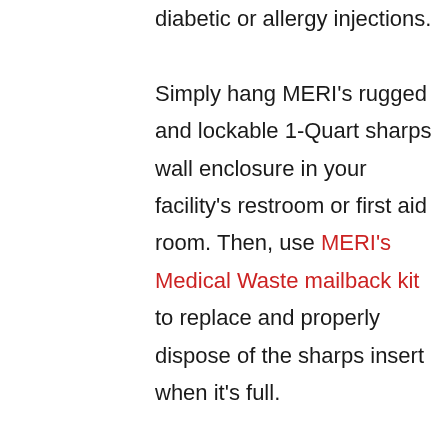diabetic or allergy injections. Simply hang MERI's rugged and lockable 1-Quart sharps wall enclosure in your facility's restroom or first aid room. Then, use MERI's Medical Waste mailback kit to replace and properly dispose of the sharps insert when it's full.